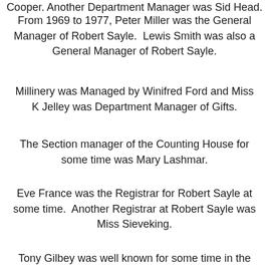Cooper. Another Department Manager was Sid Head.
From 1969 to 1977, Peter Miller was the General Manager of Robert Sayle.  Lewis Smith was also a General Manager of Robert Sayle.
Millinery was Managed by Winifred Ford and Miss K Jelley was Department Manager of Gifts.
The Section manager of the Counting House for some time was Mary Lashmar.
Eve France was the Registrar for Robert Sayle at some time.  Another Registrar at Robert Sayle was Miss Sieveking.
Tony Gilbey was well known for some time in the